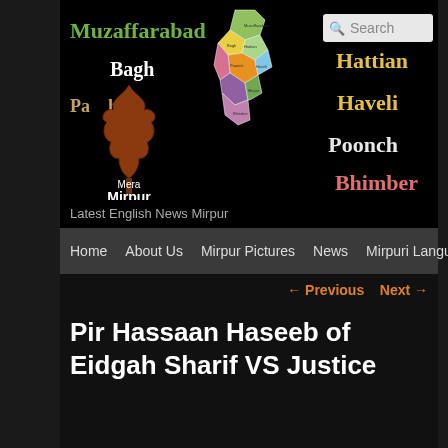[Figure (screenshot): Website header banner for 'Mera Mirpur' news site with black background, showing city names (Muzaffarabad, Bagh, Pahari, Hattian, Haveli, Poonch, Bhimber), a maple leaf logo with 'Mera Mirpur' text, a colored map of the Azad Kashmir region, and a search box.]
Latest English News Mirpur
Home  About Us  Mirpur Pictures  News  Mirpuri Language
← Previous   Next →
Pir Hassaan Haseeb of Eidgah Sharif VS Justice